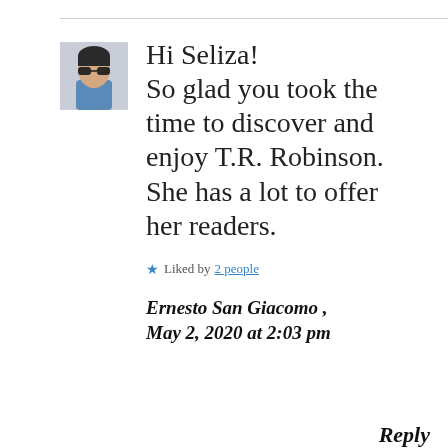[Figure (photo): Avatar photo of a person wearing sunglasses]
Hi Seliza!
So glad you took the time to discover and enjoy T.R. Robinson. She has a lot to offer her readers.
★ Liked by 2 people
Ernesto San Giacomo , May 2, 2020 at 2:03 pm
Reply